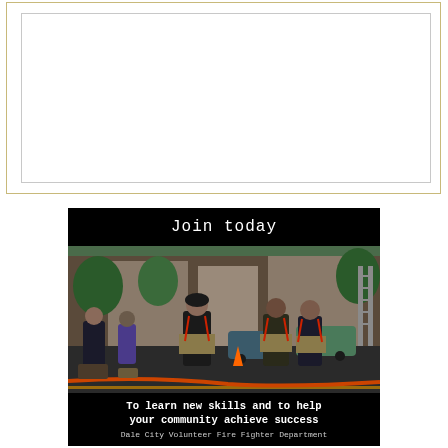[Figure (other): Large empty white bordered box at top of page, possibly containing a map or image that is blank/white in this rendering]
[Figure (photo): Recruitment advertisement for volunteer firefighter department. Shows 'Join today' text at top in white on black background, a photo of firefighters in gear standing at an outdoor scene with vehicles in the background, and bottom text reading 'To learn new skills and to help your community achieve success' with additional text partially visible reading 'Dala City Volunteer Fire Fighter Department or similar']